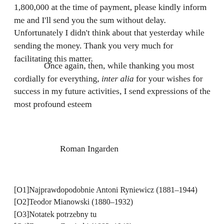1,800,000 at the time of payment, please kindly inform me and I'll send you the sum without delay. Unfortunately I didn't think about that yesterday while sending the money. Thank you very much for facilitating this matter.
Once again, then, while thanking you most cordially for everything, inter alia for your wishes for success in my future activities, I send expressions of the most profound esteem
Roman Ingarden
[O1]Najprawdopodobnie Antoni Ryniewicz (1881–1944)
[O2]Teodor Mianowski (1880–1932)
[O3]Notatek potrzebny tu
[O4]Zygmunt Zawirski (1882–1948)